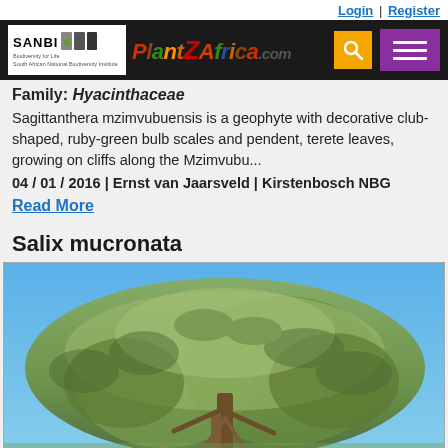Login | Register
[Figure (screenshot): PlantZAfrica.com website navigation bar with SANBI logo, PlantZAfrica colorful text logo, search icon, and purple hamburger menu button]
Family: Hyacinthaceae
Sagittanthera mzimvubuensis is a geophyte with decorative club-shaped, ruby-green bulb scales and pendent, terete leaves, growing on cliffs along the Mzimvubu...
04 / 01 / 2016 | Ernst van Jaarsveld | Kirstenbosch NBG
Read More
Salix mucronata
[Figure (photo): Photograph of a large Salix mucronata (willow) tree with a broad, leafy canopy against a blue sky]